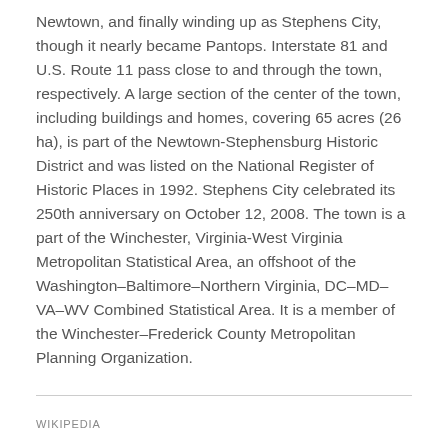Newtown, and finally winding up as Stephens City, though it nearly became Pantops. Interstate 81 and U.S. Route 11 pass close to and through the town, respectively. A large section of the center of the town, including buildings and homes, covering 65 acres (26 ha), is part of the Newtown-Stephensburg Historic District and was listed on the National Register of Historic Places in 1992. Stephens City celebrated its 250th anniversary on October 12, 2008. The town is a part of the Winchester, Virginia-West Virginia Metropolitan Statistical Area, an offshoot of the Washington–Baltimore–Northern Virginia, DC–MD–VA–WV Combined Statistical Area. It is a member of the Winchester–Frederick County Metropolitan Planning Organization.
WIKIPEDIA